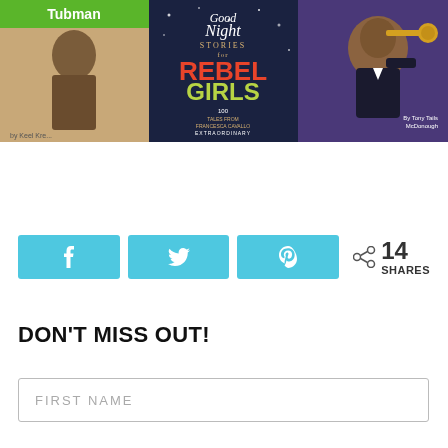[Figure (photo): Three book covers side by side: Harriet Tubman (National Geographic Super Reader), Good Night Stories for Rebel Girls, and a book about Louis Armstrong with illustrated trumpet player cover]
[Figure (infographic): Social sharing buttons: Facebook (f), Twitter (bird), Pinterest (P) in teal/cyan color, plus a share icon with count showing 14 SHARES]
DON'T MISS OUT!
FIRST NAME